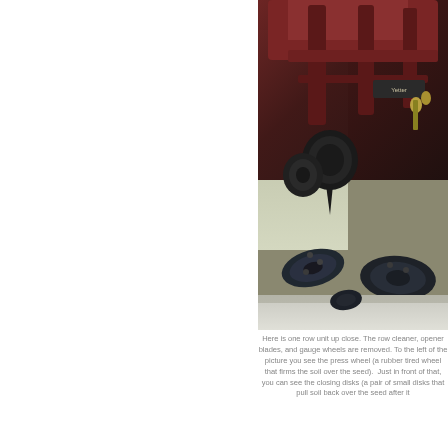[Figure (photo): Close-up photograph of a row unit on agricultural planting equipment, showing opener blades, gauge wheels, closing disks, and press wheel. Equipment is dark red/maroon with black components, photographed in an indoor setting.]
Here is one row unit up close. The row cleaner, opener blades, and gauge wheels are removed. To the left of the picture you see the press wheel (a rubber tired wheel that firms the soil over the seed). Just in front of that, you can see the closing disks (a pair of small disks that pull soil back over the seed after it